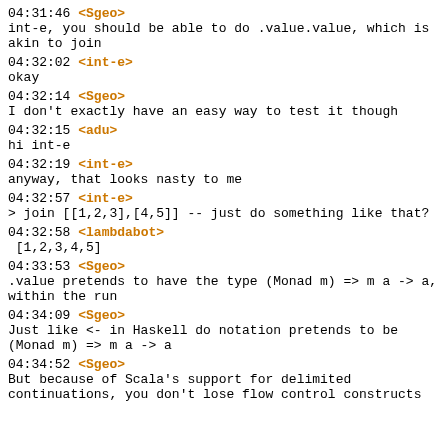04:31:46 <Sgeo>
int-e, you should be able to do .value.value, which is akin to join
04:32:02 <int-e>
okay
04:32:14 <Sgeo>
I don't exactly have an easy way to test it though
04:32:15 <adu>
hi int-e
04:32:19 <int-e>
anyway, that looks nasty to me
04:32:57 <int-e>
> join [[1,2,3],[4,5]] -- just do something like that?
04:32:58 <lambdabot>
 [1,2,3,4,5]
04:33:53 <Sgeo>
.value pretends to have the type (Monad m) => m a -> a, within the run
04:34:09 <Sgeo>
Just like <- in Haskell do notation pretends to be (Monad m) => m a -> a
04:34:52 <Sgeo>
But because of Scala's support for delimited continuations, you don't lose flow control constructs